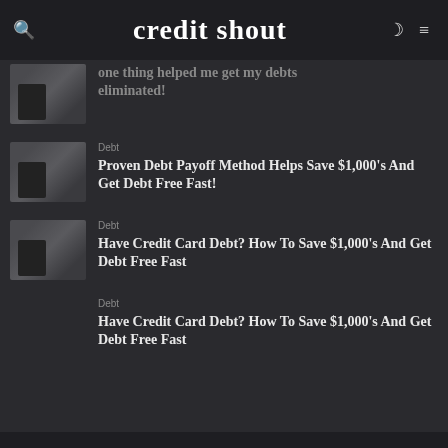credit shout
one thing helped me get my debts eliminated!
Debt
Proven Debt Payoff Method Helps Save $1,000’s And Get Debt Free Fast!
Debt
Have Credit Card Debt? How To Save $1,000’s And Get Debt Free Fast
Debt
Have Credit Card Debt? How To Save $1,000’s And Get Debt Free Fast